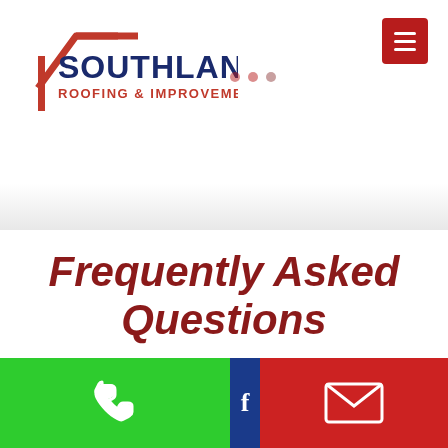[Figure (logo): Southland Roofing & Improvement logo with red house/roof icon and navy blue text]
Frequently Asked Questions
[Figure (infographic): Bottom contact bar with green phone icon section, blue Facebook section, and red email/envelope icon section]